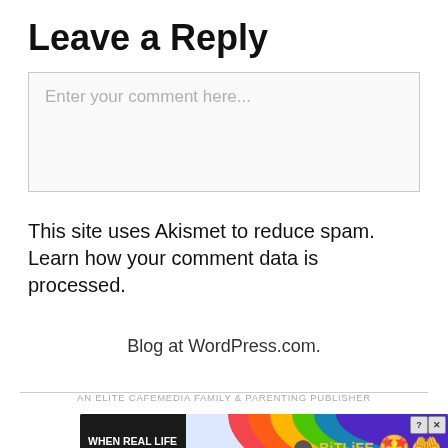Leave a Reply
Enter your comment here...
This site uses Akismet to reduce spam. Learn how your comment data is processed.
Blog at WordPress.com.
AN ELITE CAFEMEDIA FAMILY & PARENTING PUBLISHER
[Figure (infographic): Advertisement banner for BitLife game showing 'WHEN REAL LIFE IS QUARANTINED' text on dark background with rainbow and emoji graphics, close button in top right]